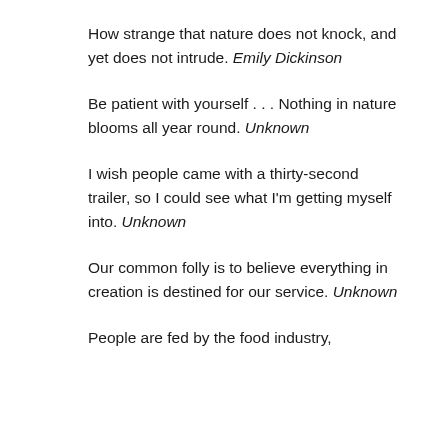How strange that nature does not knock, and yet does not intrude. Emily Dickinson
Be patient with yourself . . . Nothing in nature blooms all year round. Unknown
I wish people came with a thirty-second trailer, so I could see what I'm getting myself into. Unknown
Our common folly is to believe everything in creation is destined for our service. Unknown
People are fed by the food industry, which pays no attention to health,